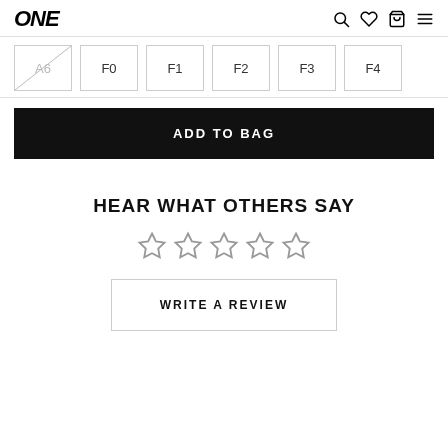ONE
A6
F0
F1
F2
F3
F4
ADD TO BAG
HEAR WHAT OTHERS SAY
☆☆☆☆☆
WRITE A REVIEW